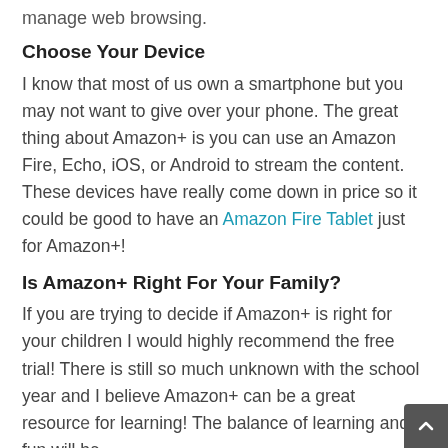manage web browsing.
Choose Your Device
I know that most of us own a smartphone but you may not want to give over your phone. The great thing about Amazon+ is you can use an Amazon Fire, Echo, iOS, or Android to stream the content. These devices have really come down in price so it could be good to have an Amazon Fire Tablet just for Amazon+!
Is Amazon+ Right For Your Family?
If you are trying to decide if Amazon+ is right for your children I would highly recommend the free trial! There is still so much unknown with the school year and I believe Amazon+ can be a great resource for learning! The balance of learning and fun will be